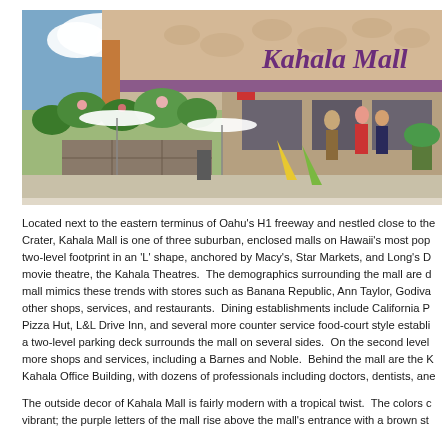[Figure (photo): Exterior photo of Kahala Mall entrance showing the mall sign with tropical floral design, outdoor seating area with white umbrellas, lush tropical plants, and shoppers walking near the entrance on a sunny day.]
Located next to the eastern terminus of Oahu's H1 freeway and nestled close to the Crater, Kahala Mall is one of three suburban, enclosed malls on Hawaii's most pop two-level footprint in an 'L' shape, anchored by Macy's, Star Markets, and Long's D movie theatre, the Kahala Theatres. The demographics surrounding the mall are d mall mimics these trends with stores such as Banana Republic, Ann Taylor, Godiva other shops, services, and restaurants. Dining establishments include California P Pizza Hut, L&L Drive Inn, and several more counter service food-court style establi a two-level parking deck surrounds the mall on several sides. On the second level more shops and services, including a Barnes and Noble. Behind the mall are the K Kahala Office Building, with dozens of professionals including doctors, dentists, ane
The outside decor of Kahala Mall is fairly modern with a tropical twist. The colors c vibrant; the purple letters of the mall rise above the mall's entrance with a brown st